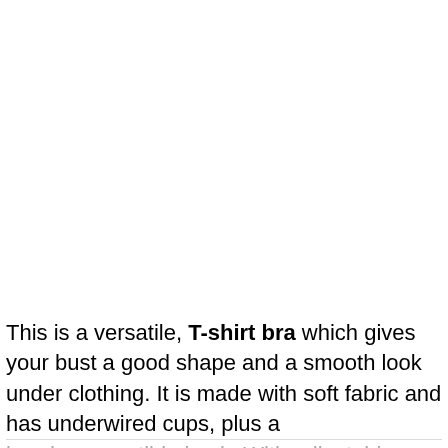This is a versatile, T-shirt bra which gives your bust a good shape and a smooth look under clothing. It is made with soft fabric and has underwired cups, plus a handy convertible back. With adjustable straps and a hook and eye fastener you get a great fit for an